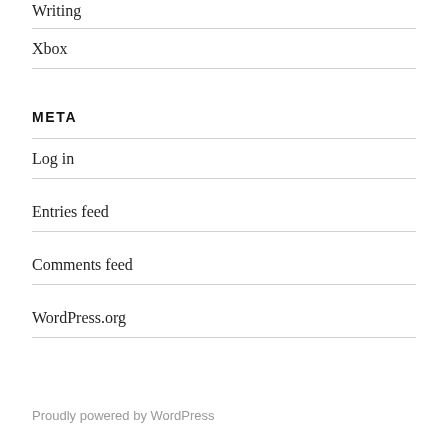Writing
Xbox
META
Log in
Entries feed
Comments feed
WordPress.org
Proudly powered by WordPress